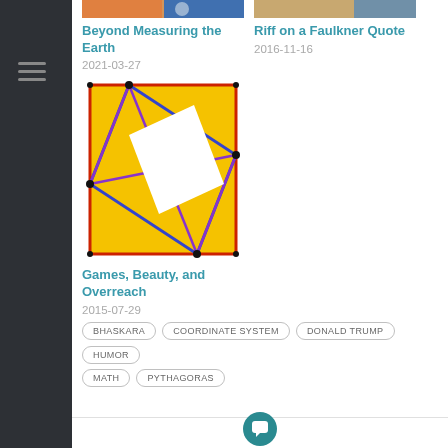[Figure (photo): Partial image for 'Beyond Measuring the Earth' article]
Beyond Measuring the Earth
2021-03-27
[Figure (photo): Partial image for 'Riff on a Faulkner Quote' article]
Riff on a Faulkner Quote
2016-11-16
[Figure (illustration): Geometric illustration showing a yellow square with a rotated white square (tilted square) inscribed inside, outlined with blue and red lines, with purple diagonal lines — related to Pythagoras/Bhaskara theorem]
Games, Beauty, and Overreach
2015-07-29
BHASKARA
COORDINATE SYSTEM
DONALD TRUMP
HUMOR
MATH
PYTHAGORAS